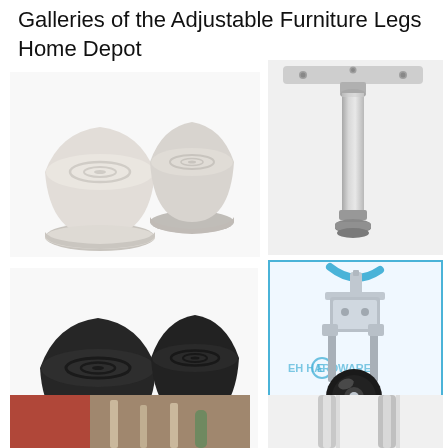Galleries of the Adjustable Furniture Legs Home Depot
[Figure (photo): Two white rubber furniture leg caps/tips, viewed from an angle showing their conical shape and circular base]
[Figure (photo): Stainless steel adjustable furniture leg with flat mounting plate on top and threaded leveling foot at bottom]
[Figure (photo): Two black rubber furniture leg caps/tips, larger than the white ones, showing conical shape and circular base]
[Figure (photo): Clear/metallic adjustable caster wheel for furniture legs with bracket mount, EH Hardware branding visible]
[Figure (photo): Partial view of furniture legs in a room setting with red chair visible]
[Figure (photo): Partial view of metal furniture leg hardware components]